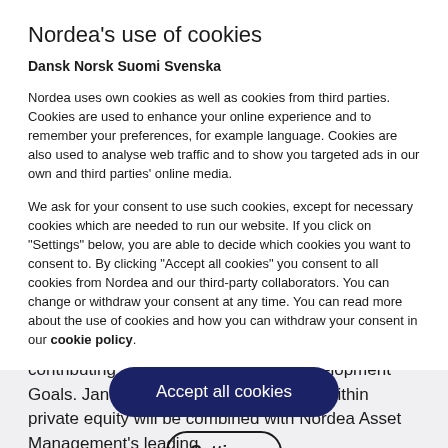Nordea's use of cookies
Dansk Norsk Suomi Svenska
Nordea uses own cookies as well as cookies from third parties. Cookies are used to enhance your online experience and to remember your preferences, for example language. Cookies are also used to analyse web traffic and to show you targeted ads in our own and third parties' online media.
We ask for your consent to use such cookies, except for necessary cookies which are needed to run our website. If you click on "Settings" below, you are able to decide which cookies you want to consent to. By clicking "Accept all cookies" you consent to all cookies from Nordea and our third-party collaborators. You can change or withdraw your consent at any time. You can read more about the use of cookies and how you can withdraw your consent in our cookie policy.
Accept all cookies
Settings
contributing to the UN Sustainable Development Goals. Jan Ståhlberg's vast knowledge within private equity will be combined with Nordea Asset Management's leading